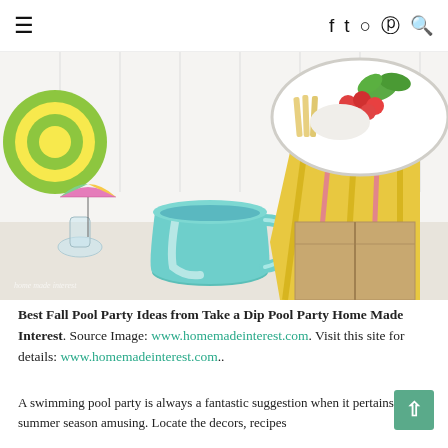≡  𝑓  𝑡  🅘  𝑃  🔍
[Figure (photo): Colorful pool party table setup with a turquoise glass pitcher of blue drink, a bowl of vegetables and crackers, a striped yellow and pink towel draped over a kraft gift box, and colorful paper plates and drink umbrellas. Watermark reads 'home made interest'.]
Best Fall Pool Party Ideas from Take a Dip Pool Party Home Made Interest. Source Image: www.homemadeinterest.com. Visit this site for details: www.homemadeinterest.com..
A swimming pool party is always a fantastic suggestion when it pertains to summer season amusing. Locate the decors, recipes